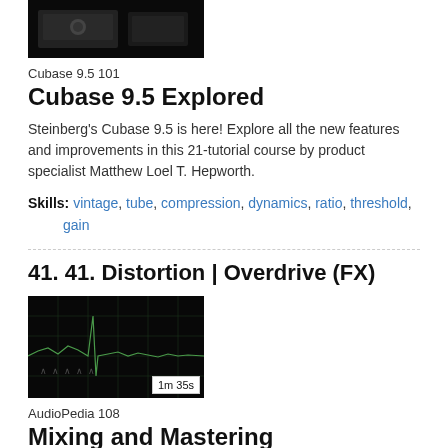[Figure (screenshot): Video thumbnail with dark background showing a device/equipment, duration label '5m 14s' in bottom-right corner]
Cubase 9.5 101
Cubase 9.5 Explored
Steinberg's Cubase 9.5 is here! Explore all the new features and improvements in this 21-tutorial course by product specialist Matthew Loel T. Hepworth.
Skills: vintage, tube, compression, dynamics, ratio, threshold, gain
41. 41. Distortion | Overdrive (FX)
[Figure (screenshot): Video thumbnail with dark background showing an audio waveform/spectrum analyzer display, duration label '1m 35s' in bottom-right corner]
AudioPedia 108
Mixing and Mastering
The NLE AudioPedia series, our video-based audio encyclopedia, is an invaluable resource for sound engineers, musicians, students, educators and all audio enthusiasts. This eight